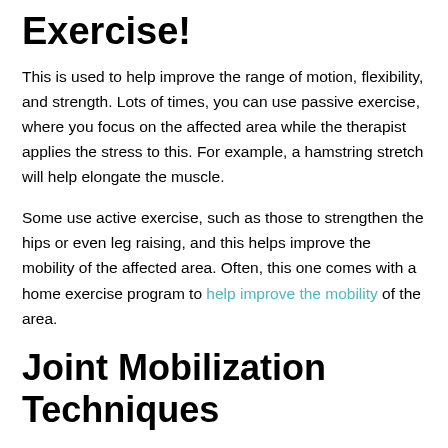Exercise!
This is used to help improve the range of motion, flexibility, and strength. Lots of times, you can use passive exercise, where you focus on the affected area while the therapist applies the stress to this. For example, a hamstring stretch will help elongate the muscle.
Some use active exercise, such as those to strengthen the hips or even leg raising, and this helps improve the mobility of the affected area. Often, this one comes with a home exercise program to help improve the mobility of the area.
Joint Mobilization Techniques
These are used when you feel pain, stiffness, are hypermobile, or have all of these happening together. They allow for you to